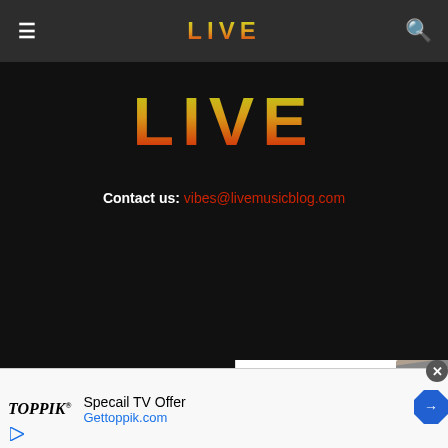☰  LIVE  🔍
[Figure (logo): LIVE music blog logo in large colorful dotmatrix-style lettering, gradient from yellow-green to orange-red]
Contact us: vibes@livemusicblog.com
ABOUT US
CONTACT US
PRIVACY POLICY
[Figure (other): Advertisement: Toppik logo, Specail TV Offer, Gettoppik.com, with blue navigation arrow icon and play button]
[Figure (photo): Marquee overlay showing partial image of a person with a hat]